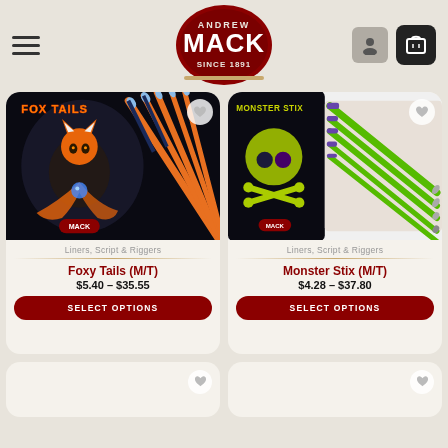Andrew Mack Since 1891
[Figure (photo): Foxy Tails product image showing paintbrushes with orange handles against a dark background with fox artwork]
Liners, Script & Riggers
Foxy Tails (M/T)
$5.40 – $35.55
SELECT OPTIONS
[Figure (photo): Monster Stix product image showing paintbrushes with green handles against a dark background with skull artwork]
Liners, Script & Riggers
Monster Stix (M/T)
$4.28 – $37.80
SELECT OPTIONS